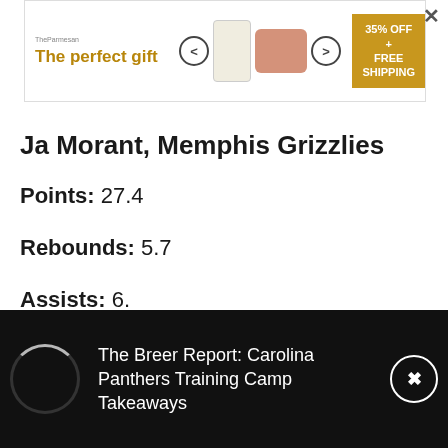[Figure (screenshot): Advertisement banner: 'The perfect gift' with product image, navigation arrows, decorative bowl, and '35% OFF + FREE SHIPPING' gold promo box. Close button (×) at top right.]
Ja Morant, Memphis Grizzlies
Points: 27.4
Rebounds: 5.7
Assists: 6.x
[Figure (screenshot): Black video overlay bar at bottom with loading spinner on left and text 'The Breer Report: Carolina Panthers Training Camp Takeaways'. Circle-X close button on right.]